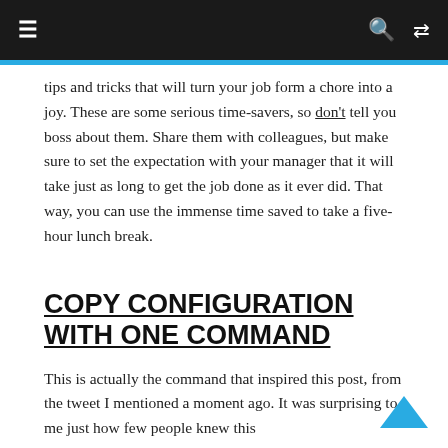≡  🔍  ⇄
tips and tricks that will turn your job form a chore into a joy. These are some serious time-savers, so don't tell you boss about them. Share them with colleagues, but make sure to set the expectation with your manager that it will take just as long to get the job done as it ever did. That way, you can use the immense time saved to take a five-hour lunch break.
COPY CONFIGURATION WITH ONE COMMAND
This is actually the command that inspired this post, from the tweet I mentioned a moment ago. It was surprising to me just how few people knew this